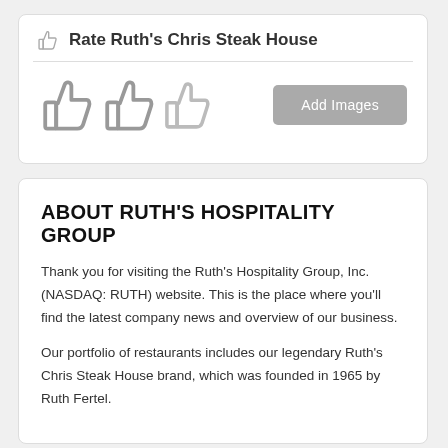Rate Ruth's Chris Steak House
[Figure (illustration): Three thumbs-up icons in gray]
ABOUT RUTH'S HOSPITALITY GROUP
Thank you for visiting the Ruth's Hospitality Group, Inc. (NASDAQ: RUTH) website. This is the place where you'll find the latest company news and overview of our business.
Our portfolio of restaurants includes our legendary Ruth's Chris Steak House brand, which was founded in 1965 by Ruth Fertel.